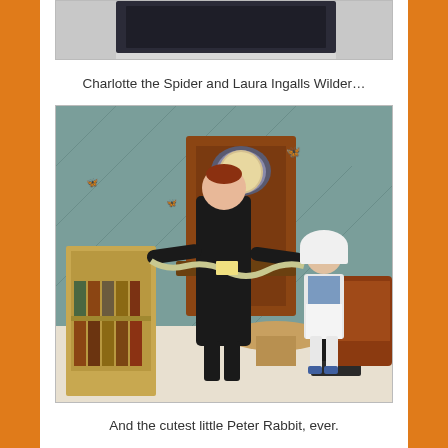[Figure (photo): Top portion of a photo showing dark clothing/bag, partially cropped at top of page]
Charlotte the Spider and Laura Ingalls Wilder…
[Figure (photo): Two children in costumes inside a library or museum setting. One tall girl dressed in all black as Charlotte the Spider holding a paper chain web, and a smaller girl dressed as Laura Ingalls Wilder in a bonnet and apron.]
And the cutest little Peter Rabbit, ever.